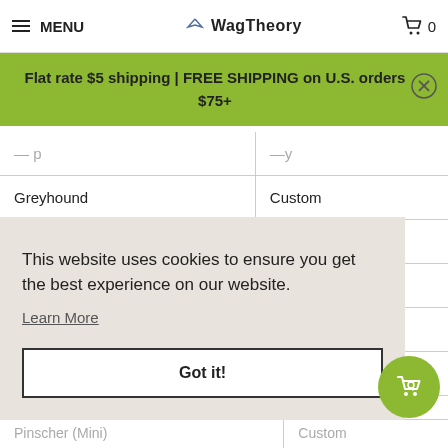MENU | WagTheory | 0
Flat rate $5 shipping | FREE SHIPPING on U.S. orders $75+
| Breed | Size |
| --- | --- |
| Greyhound | Custom |
| Greyhound (Italian) | Custom |
| Havanese | 12 |
| Irish Setter | 25 |
| Irish Wolfhound | Custom |
This website uses cookies to ensure you get the best experience on our website.
Learn More
Got it!